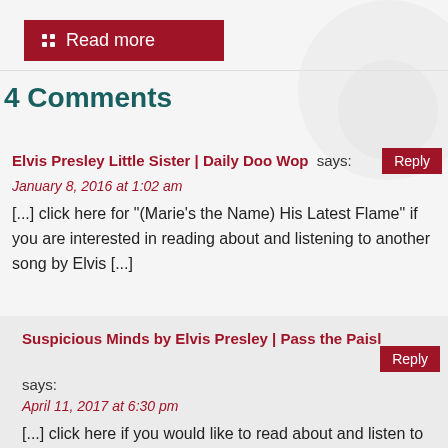Read more
4 Comments
Elvis Presley Little Sister | Daily Doo Wop says:
January 8, 2016 at 1:02 am
[...] click here for "(Marie's the Name) His Latest Flame" if you are interested in reading about and listening to another song by Elvis [...]
Suspicious Minds by Elvis Presley | Pass the Paisley says:
April 11, 2017 at 6:30 pm
[...] click here if you would like to read about and listen to "Jailhouse Rock," "(Marie's the Name) His Latest Flame"